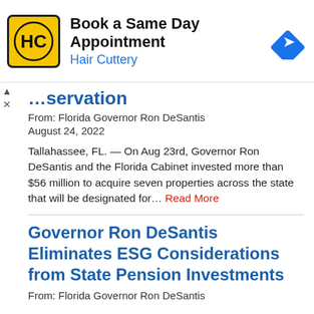[Figure (infographic): Hair Cuttery advertisement banner with yellow HC logo, text 'Book a Same Day Appointment' and 'Hair Cuttery' in blue, and a blue navigation arrow diamond icon on the right.]
…servation (partial, cut off)
From: Florida Governor Ron DeSantis
August 24, 2022
Tallahassee, FL. — On Aug 23rd, Governor Ron DeSantis and the Florida Cabinet invested more than $56 million to acquire seven properties across the state that will be designated for… Read More
Governor Ron DeSantis Eliminates ESG Considerations from State Pension Investments
From: Florida Governor Ron DeSantis